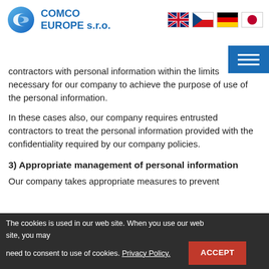COMCO EUROPE s.r.o.
contractors with personal information within the limits necessary for our company to achieve the purpose of use of the personal information.
In these cases also, our company requires entrusted contractors to treat the personal information provided with the confidentiality required by our company policies.
3) Appropriate management of personal information
Our company takes appropriate measures to prevent
The cookies is used in our web site. When you use our web site, you may need to consent to use of cookies. Privacy Policy. ACCEPT